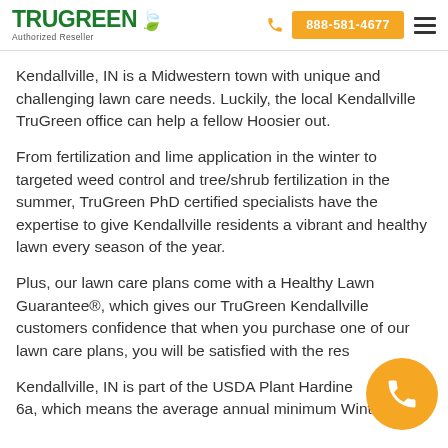TruGreen Authorized Reseller | 888-581-4677
Kendallville, IN is a Midwestern town with unique and challenging lawn care needs. Luckily, the local Kendallville TruGreen office can help a fellow Hoosier out.
From fertilization and lime application in the winter to targeted weed control and tree/shrub fertilization in the summer, TruGreen PhD certified specialists have the expertise to give Kendallville residents a vibrant and healthy lawn every season of the year.
Plus, our lawn care plans come with a Healthy Lawn Guarantee®, which gives our TruGreen Kendallville customers confidence that when you purchase one of our lawn care plans, you will be satisfied with the res...
Kendallville, IN is part of the USDA Plant Hardine... 6a, which means the average annual minimum Winter...